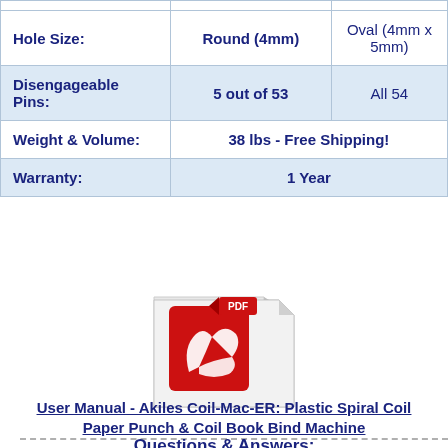|  | Round (4mm) | Oval (4mm x 5mm) |
| --- | --- | --- |
| Hole Size: | Round (4mm) | Oval (4mm x 5mm) |
| Disengageable Pins: | 5 out of 53 | All 54 |
| Weight & Volume: | 38 lbs - Free Shipping! |  |
| Warranty: | 1 Year |  |
[Figure (illustration): PDF document icon with red Adobe-style Acrobat logo]
User Manual - Akiles Coil-Mac-ER: Plastic Spiral Coil Paper Punch & Coil Book Bind Machine
Questions & Answers: